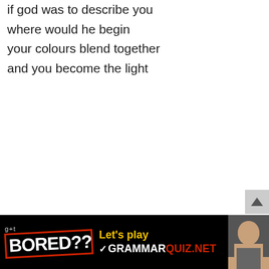if god was to describe you
where would he begin
your colours blend together
and you become the light
[Figure (other): Advertisement banner for GrammarQuiz.net with black background. Left side shows 'g+t' text above 'BORED??' in large white bold letters with red border at a slight angle. Middle shows 'Let's play' in yellow and a checkbox icon followed by 'GRAMMARQUIZ.NET' in white and red. Right side shows a photo of a person with hands on face.]